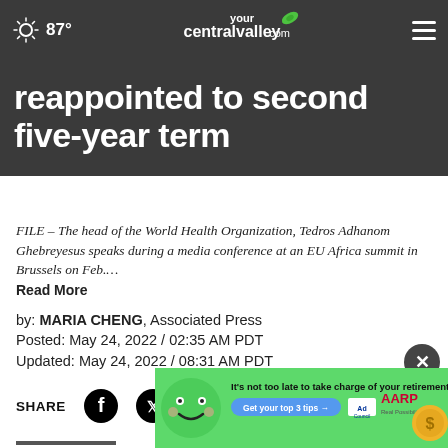87° yourcentralvalley.com
reappointed to second five-year term
FILE – The head of the World Health Organization, Tedros Adhanom Ghebreyesus speaks during a media conference at an EU Africa summit in Brussels on Feb.… Read More
by: MARIA CHENG, Associated Press
Posted: May 24, 2022 / 02:35 AM PDT
Updated: May 24, 2022 / 08:31 AM PDT
SHARE
LOND
Adhanom Ghebreyesus was reappointed to a second